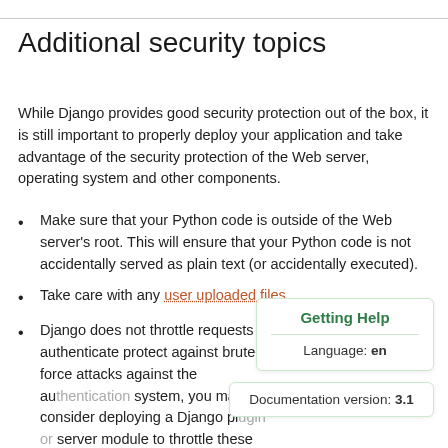Additional security topics
While Django provides good security protection out of the box, it is still important to properly deploy your application and take advantage of the security protection of the Web server, operating system and other components.
Make sure that your Python code is outside of the Web server's root. This will ensure that your Python code is not accidentally served as plain text (or accidentally executed).
Take care with any user uploaded files.
Django does not throttle requests to authenticate protect against brute-force attacks against the authentication system, you may consider deploying a Django pl server module to throttle these requests.
Keep your SECRET_KEY a secret.
It is a good idea to limit the accessibility of your caching system
Getting Help
Language: en
Documentation version: 3.1